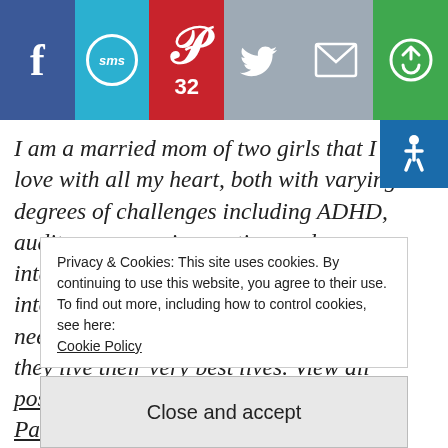[Figure (screenshot): Social sharing bar with buttons: Facebook (blue), SMS (light blue with circle), Pinterest (red with P and count 32), Twitter (grey), Mail (grey), Other/share (green)]
I am a married mom of two girls that I love with all my heart, both with varying degrees of challenges including ADHD, auditory processing, autism and intellectual disability. I started Tumble into Love as a lifestyle blog for special needs parents to connect and share how they live their very best lives. View all posts by Tumble into Love | Connecting Parents | Special Needs Lifestyle
Privacy & Cookies: This site uses cookies. By continuing to use this website, you agree to their use.
To find out more, including how to control cookies, see here:
Cookie Policy
Close and accept